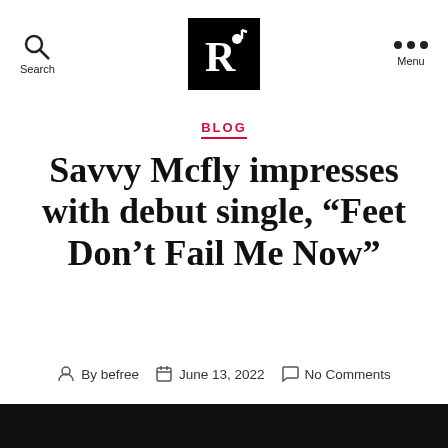Search | [Logo] | Menu
BLOG
Savvy Mcfly impresses with debut single, “Feet Don’t Fail Me Now”
By befree | June 13, 2022 | No Comments